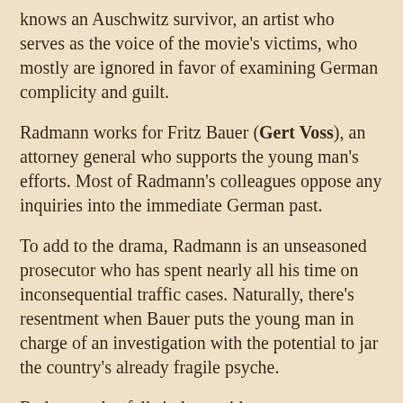knows an Auschwitz survivor, an artist who serves as the voice of the movie's victims, who mostly are ignored in favor of examining German complicity and guilt.
Radmann works for Fritz Bauer (Gert Voss), an attorney general who supports the young man's efforts. Most of Radmann's colleagues oppose any inquiries into the immediate German past.
To add to the drama, Radmann is an unseasoned prosecutor who has spent nearly all his time on inconsequential traffic cases. Naturally, there's resentment when Bauer puts the young man in charge of an investigation with the potential to jar the country's already fragile psyche.
Radmann also falls in love with a seamstress (Friederike Becht) who aspires to be a fashion designer. Becht's Marlene begins to benefit economically when Radmann is courted by some of Frankfurt's bigwigs, many of whom are former Nazis. They hope to lure the young man from his task.
During the course of his investigations, Radmann even